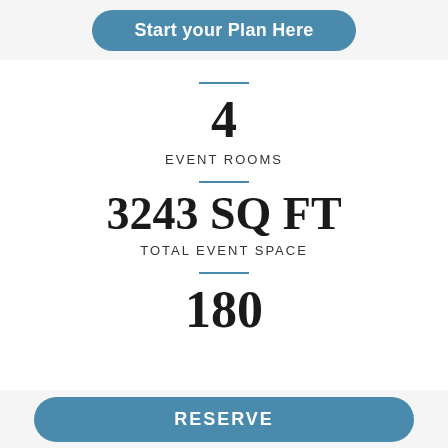Start your Plan Here
4
EVENT ROOMS
3243 SQ FT
TOTAL EVENT SPACE
180
RESERVE